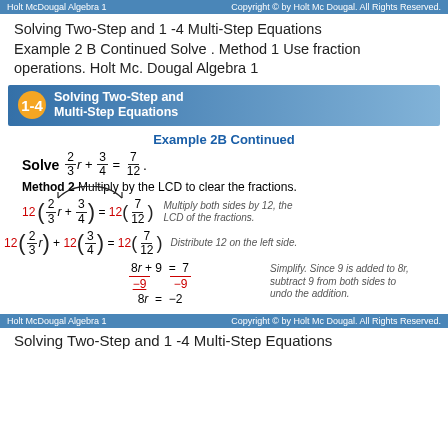Holt McDougal Algebra 1 | Copyright © by Holt Mc Dougal. All Rights Reserved.
Solving Two-Step and 1 -4 Multi-Step Equations Example 2 B Continued Solve . Method 1 Use fraction operations. Holt Mc. Dougal Algebra 1
1-4 Solving Two-Step and Multi-Step Equations
Example 2B Continued
Method 2 Multiply by the LCD to clear the fractions.
Multiply both sides by 12, the LCD of the fractions.
Distribute 12 on the left side.
Simplify. Since 9 is added to 8r, subtract 9 from both sides to undo the addition.
Holt McDougal Algebra 1 | Copyright © by Holt Mc Dougal. All Rights Reserved.
Solving Two-Step and 1 -4 Multi-Step Equations